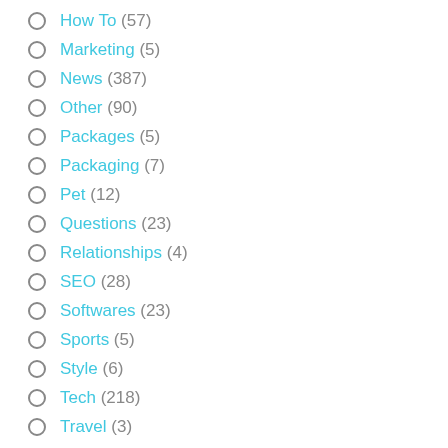How To (57)
Marketing (5)
News (387)
Other (90)
Packages (5)
Packaging (7)
Pet (12)
Questions (23)
Relationships (4)
SEO (28)
Softwares (23)
Sports (5)
Style (6)
Tech (218)
Travel (3)